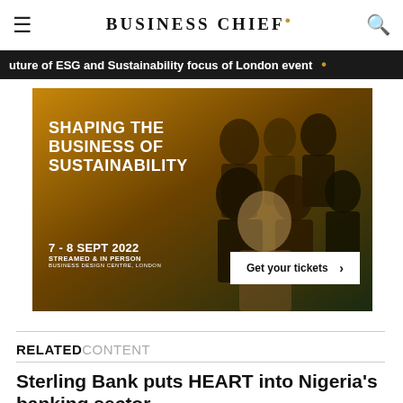BUSINESS CHIEF.
uture of ESG and Sustainability focus of London event •
[Figure (photo): Advertisement banner for a sustainability business event titled 'SHAPING THE BUSINESS OF SUSTAINABILITY', dated 7–8 SEPT 2022, STREAMED & IN PERSON, BUSINESS DESIGN CENTRE, LONDON. Features group silhouette portraits on an orange/dark background with a 'Get your tickets >' button.]
RELATED CONTENT
Sterling Bank puts HEART into Nigeria's banking sector